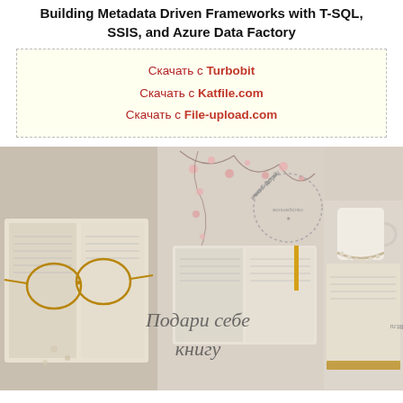Building Metadata Driven Frameworks with T-SQL, SSIS, and Azure Data Factory
Скачать с Turbobit
Скачать с Katfile.com
Скачать с File-upload.com
[Figure (photo): Lifestyle collage of books, glasses, cherry blossoms, a mug, and a circular Russian stamp-like logo. Text overlay in cursive Russian: 'Подари себе книгу'. Vertical text on right: 'adlit.ru'.]